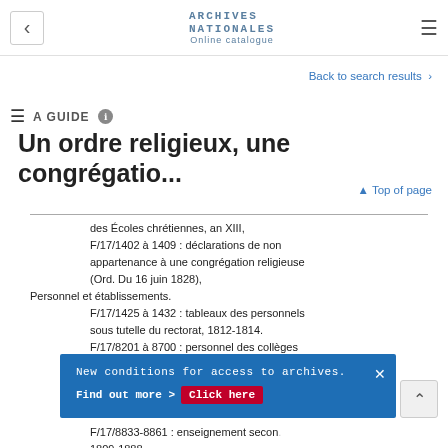Archives Nationales Online catalogue
Back to search results >
A GUIDE ℹ
Un ordre religieux, une congrégatio...
▲ Top of page
des Écoles chrétiennes, an XIII, F/17/1402 à 1409 : déclarations de non appartenance à une congrégation religieuse (Ord. Du 16 juin 1828),
Personnel et établissements.
F/17/1425 à 1432 : tableaux des personnels sous tutelle du rectorat, 1812-1814.
F/17/8201 à 8700 : personnel des collèges
New conditions for access to archives. Find out more > Click here
F/17/8833-8861 : enseignement secondaire, 1809-1888.